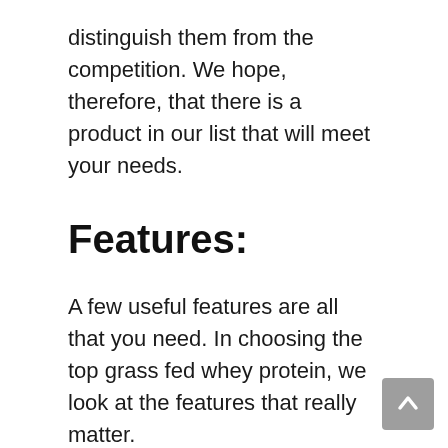distinguish them from the competition. We hope, therefore, that there is a product in our list that will meet your needs.
Features:
A few useful features are all that you need. In choosing the top grass fed whey protein, we look at the features that really matter.
Specifications:
Quantitative measures of quality are always easy to make when you have numbers at your disposal. As a company,